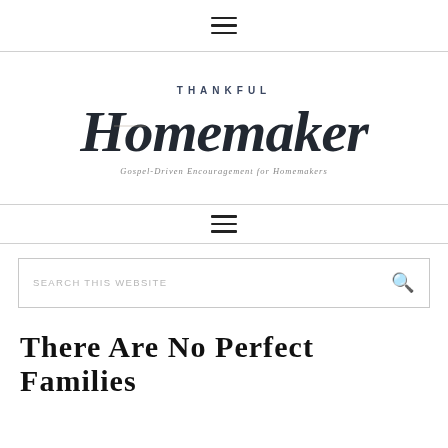≡ (hamburger menu icon)
[Figure (logo): Thankful Homemaker logo — script lettering with 'THANKFUL' in small caps above, 'Homemaker' in large cursive script, and 'Gospel-Driven Encouragement for Homemakers' in small text below]
≡ (hamburger menu icon, secondary navigation bar)
SEARCH THIS WEBSITE
There Are No Perfect Families